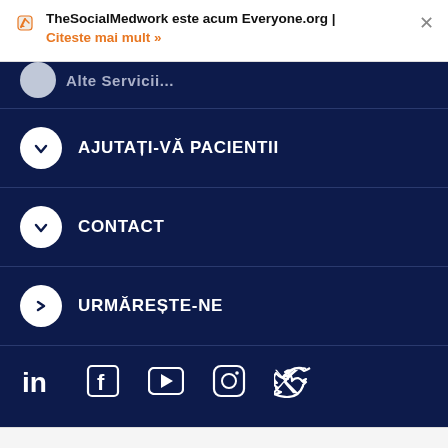TheSocialMedwork este acum Everyone.org | Citeste mai mult »
AJUTAȚI-VĂ PACIENTII
CONTACT
URMĂREȘTE-NE
[Figure (infographic): Social media icons: LinkedIn, Facebook, YouTube, Instagram, Twitter on dark navy background]